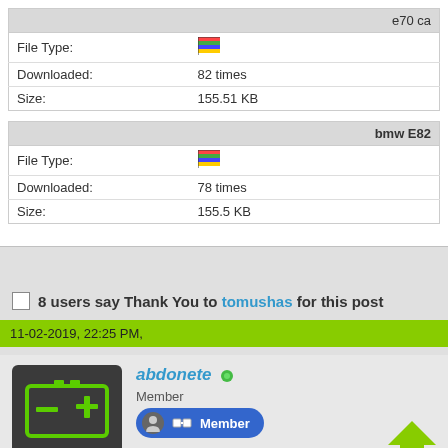| e70 ca |  |
| --- | --- |
| File Type: | [icon] |
| Downloaded: | 82 times |
| Size: | 155.51 KB |
| bmw E82 |  |
| --- | --- |
| File Type: | [icon] |
| Downloaded: | 78 times |
| Size: | 155.5 KB |
8 users say Thank You to tomushas for this post
11-02-2019, 22:25 PM,
abdonete
Member
Member